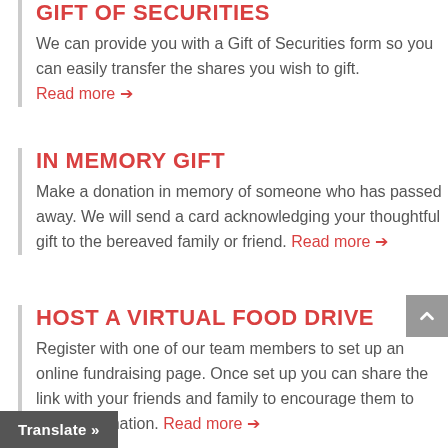GIFT OF SECURITIES
We can provide you with a Gift of Securities form so you can easily transfer the shares you wish to gift. Read more →
IN MEMORY GIFT
Make a donation in memory of someone who has passed away. We will send a card acknowledging your thoughtful gift to the bereaved family or friend. Read more →
HOST A VIRTUAL FOOD DRIVE
Register with one of our team members to set up an online fundraising page. Once set up you can share the link with your friends and family to encourage them to make a donation. Read more →